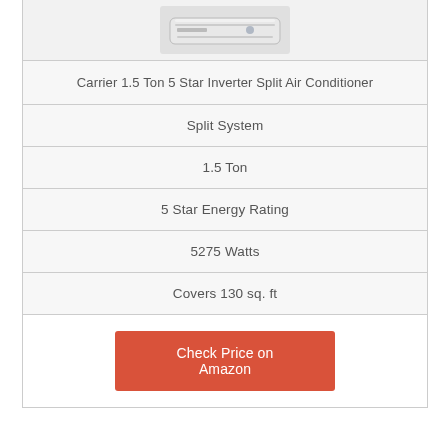[Figure (photo): Photo of a white Carrier split air conditioner indoor unit]
Carrier 1.5 Ton 5 Star Inverter Split Air Conditioner
Split System
1.5 Ton
5 Star Energy Rating
5275 Watts
Covers 130 sq. ft
Check Price on Amazon